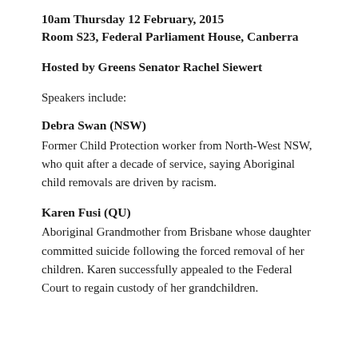10am Thursday 12 February, 2015
Room S23, Federal Parliament House, Canberra
Hosted by Greens Senator Rachel Siewert
Speakers include:
Debra Swan (NSW)
Former Child Protection worker from North-West NSW, who quit after a decade of service, saying Aboriginal child removals are driven by racism.
Karen Fusi (QU)
Aboriginal Grandmother from Brisbane whose daughter committed suicide following the forced removal of her children. Karen successfully appealed to the Federal Court to regain custody of her grandchildren.